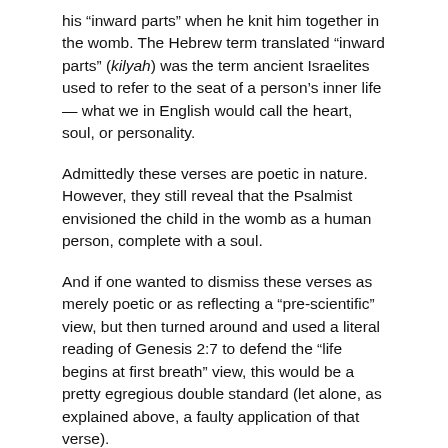his “inward parts” when he knit him together in the womb. The Hebrew term translated “inward parts” (kilyah) was the term ancient Israelites used to refer to the seat of a person’s inner life — what we in English would call the heart, soul, or personality.
Admittedly these verses are poetic in nature. However, they still reveal that the Psalmist envisioned the child in the womb as a human person, complete with a soul.
And if one wanted to dismiss these verses as merely poetic or as reflecting a “pre-scientific” view, but then turned around and used a literal reading of Genesis 2:7 to defend the “life begins at first breath” view, this would be a pretty egregious double standard (let alone, as explained above, a faulty application of that verse).
So, if you take Scripture seriously and you desire to defend your ethical and political stances from it, then no matter what other conclusions you draw, you must not ignore or dismiss the fact that the Bible presents the unborn as persons.
Not fetal tissue; not “pre-children” or “potential humans.”